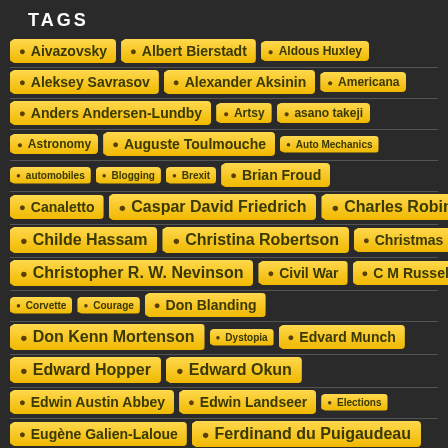TAGS
Aivazovsky
Albert Bierstadt
Aldous Huxley
Aleksey Savrasov
Alexander Aksinin
Americana
Anders Andersen-Lundby
Artsy
asano takeji
Astronomy
Auguste Toulmouche
Auto Mechanics
automobiles
Blogging
Brexit
Brian Froud
Canaletto
Caspar David Friedrich
Charles Robinson
Childe Hassam
Christina Robertson
Christmas
Christopher R. W. Nevinson
Civil War
C M Russell
Corvette
Courage
Don Blanding
Don Kenn Mortenson
Dystopia
Edvard Munch
Edward Hopper
Edward Okun
Edwin Austin Abbey
Edwin Landseer
Elections
Eugène Galien-Laloue
Ferdinand du Puigaudeau